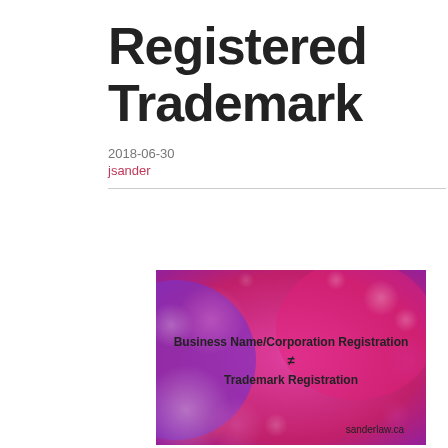Registered Trademark
2018-06-30
jsander
[Figure (illustration): Pink and purple bokeh background with text: Business Name/Corporation Registration ≠ Trademark Registration, sanderlaw.ca]